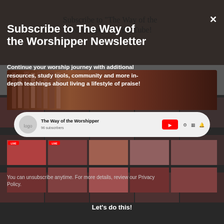Subscribe to "The Way of the Worshipper" on YouTube!
Subscribe to The Way of the Worshipper Newsletter
Continue your worship journey with additional resources, study tools, community and more in-depth teachings about living a lifestyle of praise!
[Figure (screenshot): Screenshot of The Way of the Worshipper YouTube channel page showing channel header, subscriber count, and a grid of video thumbnails including LIVE sessions and worship teaching videos.]
You can unsubscribe anytime. For more details, review our Privacy Policy.
Let's do this!